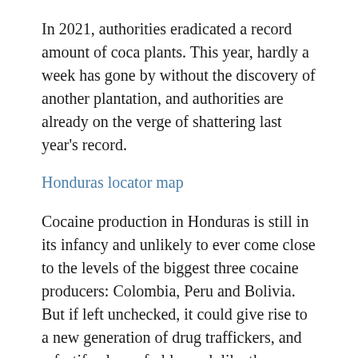In 2021, authorities eradicated a record amount of coca plants. This year, hardly a week has gone by without the discovery of another plantation, and authorities are already on the verge of shattering last year's record.
Honduras locator map
Cocaine production in Honduras is still in its infancy and unlikely to ever come close to the levels of the biggest three cocaine producers: Colombia, Peru and Bolivia. But if left unchecked, it could give rise to a new generation of drug traffickers, and refortify clans of old, much like the shifting of drug routes from the Caribbean to Central America